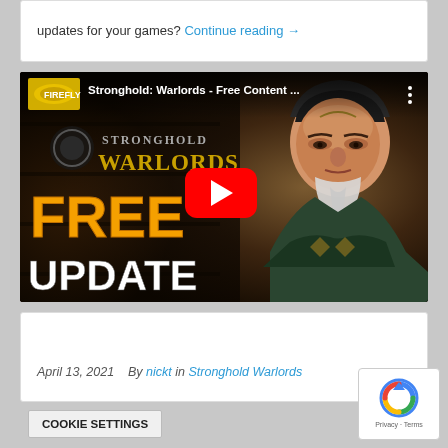updates for your games? Continue reading →
[Figure (screenshot): YouTube video thumbnail for 'Stronghold: Warlords - Free Content ...' showing a Chinese warlord character with FREE UPDATE text overlay and YouTube play button]
April 13, 2021   By nickt in Stronghold Warlords
COOKIE SETTINGS